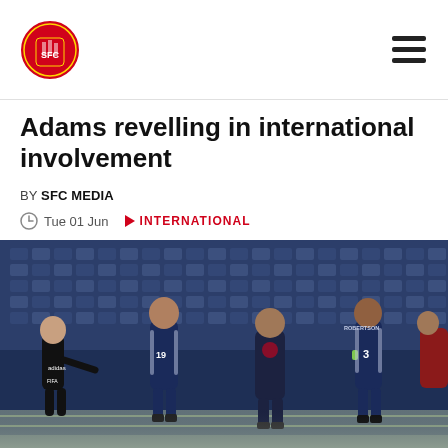Southampton FC – header with logo and navigation
Adams revelling in international involvement
BY SFC MEDIA
Tue 01 Jun   INTERNATIONAL
[Figure (photo): Scotland football players including Che Adams (number 19) on the pitch with manager Steve Clarke and captain Andy Robertson (number 3), with a referee and stadium seats in the background.]